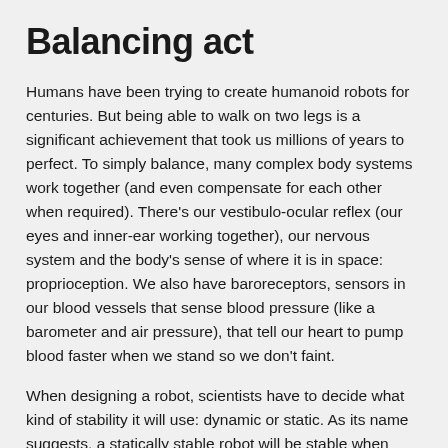Balancing act
Humans have been trying to create humanoid robots for centuries. But being able to walk on two legs is a significant achievement that took us millions of years to perfect. To simply balance, many complex body systems work together (and even compensate for each other when required). There’s our vestibulo-ocular reflex (our eyes and inner-ear working together), our nervous system and the body’s sense of where it is in space: proprioception. We also have baroreceptors, sensors in our blood vessels that sense blood pressure (like a barometer and air pressure), that tell our heart to pump blood faster when we stand so we don’t faint.
When designing a robot, scientists have to decide what kind of stability it will use: dynamic or static. As its name suggests, a statically stable robot will be stable when standing still. Basically – any robot with three legs or